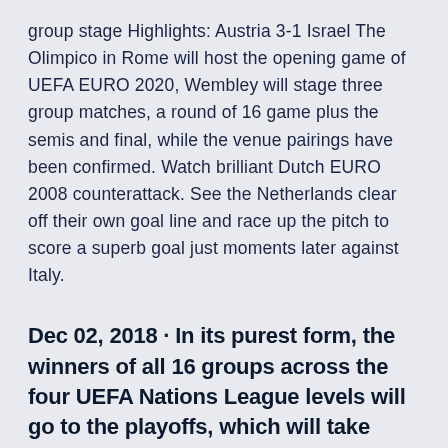group stage Highlights: Austria 3-1 Israel The Olimpico in Rome will host the opening game of UEFA EURO 2020, Wembley will stage three group matches, a round of 16 game plus the semis and final, while the venue pairings have been confirmed. Watch brilliant Dutch EURO 2008 counterattack. See the Netherlands clear off their own goal line and race up the pitch to score a superb goal just moments later against Italy.
Dec 02, 2018 · In its purest form, the winners of all 16 groups across the four UEFA Nations League levels will go to the playoffs, which will take place in March 2020. Each playoff will have four nations, with